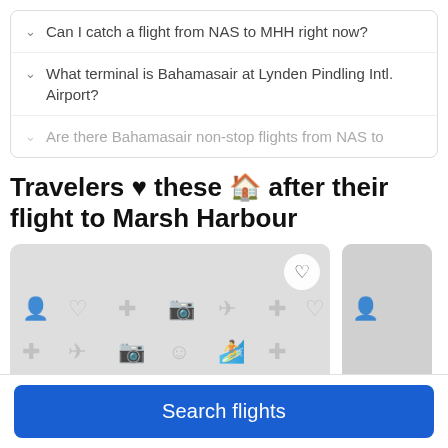Can I catch a flight from NAS to MHH right now?
What terminal is Bahamasair at Lynden Pindling Intl. Airport?
Are there Bahamasair non-stop flights from NAS to
Travelers ♥ these 🏠 after their flight to Marsh Harbour
[Figure (photo): Scrollable card showing accommodation listing: 'Lovely Spacious - 1 Bedroom Rental - Outside grill' with a heart/save button, image placeholder with travel icons, and a partial second card visible on the right]
Search flights